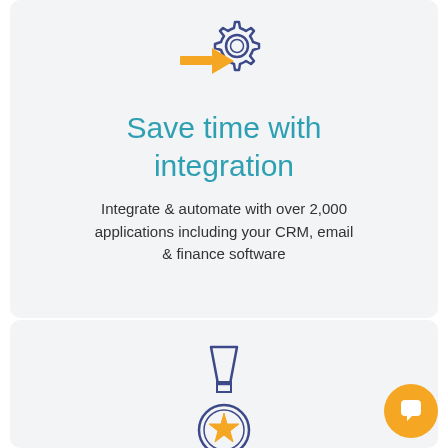[Figure (illustration): Icon of a gear with an arrow pointing into it, orange arrow and dark blue gear outline]
Save time with integration
Integrate & automate with over 2,000 applications including your CRM, email & finance software
[Figure (illustration): Icon of a medal/award badge with a star, dark blue outline with orange star]
[Figure (illustration): Orange circular chat bubble button in bottom right corner]